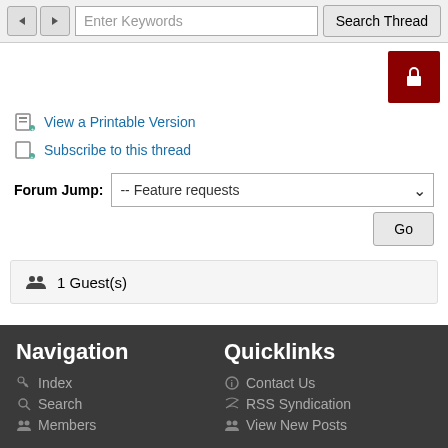[Figure (screenshot): Navigation buttons (back/forward), keyword search input, and Search Thread button]
[Figure (screenshot): Dark red lock/closed button icon on right side]
View a Printable Version
Subscribe to this thread
Forum Jump: -- Feature requests  Go
1 Guest(s)
Navigation
Quicklinks
Index
Search
Members
Contact Us
RSS Syndication
View New Posts